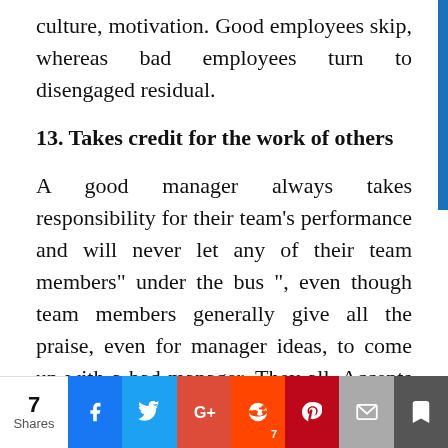culture, motivation. Good employees skip, whereas bad employees turn to disengaged residual.
13. Takes credit for the work of others
A good manager always takes responsibility for their team’s performance and will never let any of their team members” under the bus “, even though team members generally give all the praise, even for manager ideas, to come up with a bad manager. They all. Accepts credit and blames their employees for failure, which breaks
7 Shares